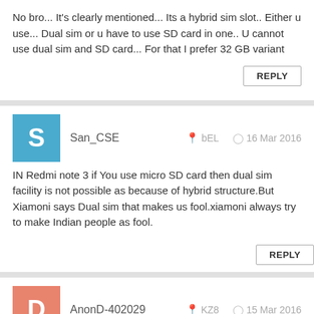No bro... It's clearly mentioned... Its a hybrid sim slot.. Either u use... Dual sim or u have to use SD card in one.. U cannot use dual sim and SD card... For that I prefer 32 GB variant
San_CSE · bEL · 16 Mar 2016
IN Redmi note 3 if You use micro SD card then dual sim facility is not possible as because of hybrid structure.But Xiamoni says Dual sim that makes us fool.xiamoni always try to make Indian people as fool.
AnonD-402029 · KZ8 · 15 Mar 2016